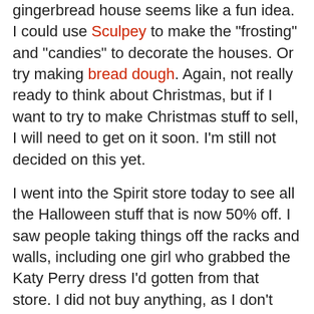gingerbread house seems like a fun idea.  I could use Sculpey to make the "frosting" and "candies" to decorate the houses.  Or try making bread dough.   Again, not really ready to think about Christmas, but if I want to try to make Christmas stuff to sell, I will need to get on it soon.  I'm still not decided on this yet.
I went into the Spirit store today to see all the Halloween stuff that is now 50% off.  I saw people taking things off the racks and walls, including one girl who grabbed the Katy Perry dress I'd gotten from that store.  I did not buy anything, as I don't want to think about Halloween next year just yet.  Though I know that one year, I want to do a '20s costume (as two people I know from the local bar did this year) and another year I want to do a '50s one. Oddly enough the poodle skirt we had at my store is now discounted to $17, though I did not buy that one either.  None of the costumes seemed to sell before Halloween and all but two were left today.  Again, not yet sure about next year.  A lot can change in one year.  Though I'm certain I may just do one of those ideas next year.
I went into the Spirit store today to see all the Halloween stuff...